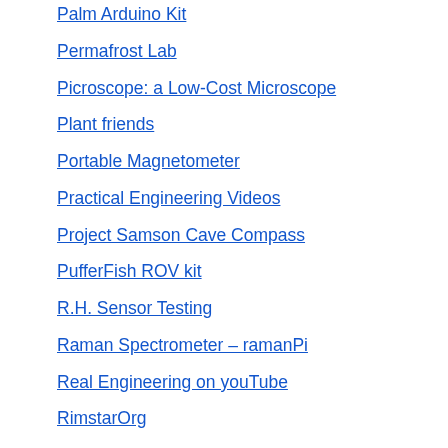Palm Arduino Kit
Permafrost Lab
Picroscope: a Low-Cost Microscope
Plant friends
Portable Magnetometer
Practical Engineering Videos
Project Samson Cave Compass
PufferFish ROV kit
R.H. Sensor Testing
Raman Spectrometer – ramanPi
Real Engineering on youTube
RimstarOrg
RoboFish
RoboFish Autonomous Underwater Vehicle
ROV in a bucket
ROVs on Pinterest
Satellite Navigator
Schazamp's datalogger
Simple Bat Detector